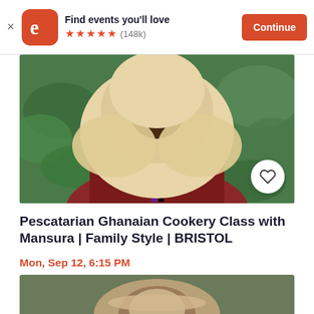[Figure (screenshot): Eventbrite app banner with orange logo, 'Find events you'll love' text, 5 star rating (148k), and Continue button]
[Figure (photo): A smiling woman wearing a cream/beige hijab and colorful patterned clothing, standing in front of green foliage. A heart/save button is visible bottom right.]
Pescatarian Ghanaian Cookery Class with Mansura | Family Style | BRISTOL
Mon, Sep 12, 6:15 PM
Cooking It • Redland
£38.32
[Figure (photo): Partial bottom image showing another person, cropped at bottom of page.]